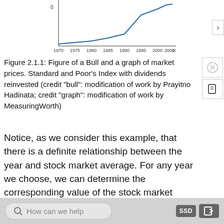[Figure (photo): Photo of a bull animal and a line chart showing Standard and Poor's Index with dividends reinvested from 1970 to 2010, with values increasing over time. Navigation hamburger menu visible in top-left corner.]
Figure 2.1.1: Figure of a Bull and a graph of market prices. Standard and Poor’s Index with dividends reinvested (credit "bull": modification of work by Prayitno Hadinata; credit "graph": modification of work by MeasuringWorth)
Notice, as we consider this example, that there is a definite relationship between the year and stock market average. For any year we choose, we can determine the corresponding value of the stock market average. In this chapter, we will explore these kinds of relationships and their properties.
Contributors and Attributions